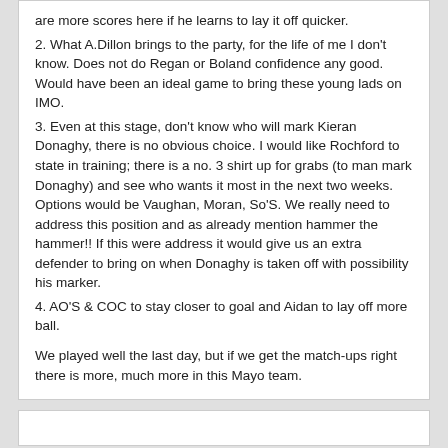are more scores here if he learns to lay it off quicker.
2. What A.Dillon brings to the party, for the life of me I don't know. Does not do Regan or Boland confidence any good. Would have been an ideal game to bring these young lads on IMO.
3. Even at this stage, don't know who will mark Kieran Donaghy, there is no obvious choice. I would like Rochford to state in training; there is a no. 3 shirt up for grabs (to man mark Donaghy) and see who wants it most in the next two weeks. Options would be Vaughan, Moran, So'S. We really need to address this position and as already mention hammer the hammer!! If this were address it would give us an extra defender to bring on when Donaghy is taken off with possibility his marker.
4. AO'S & COC to stay closer to goal and Aidan to lay off more ball.
We played well the last day, but if we get the match-ups right there is more, much more in this Mayo team.